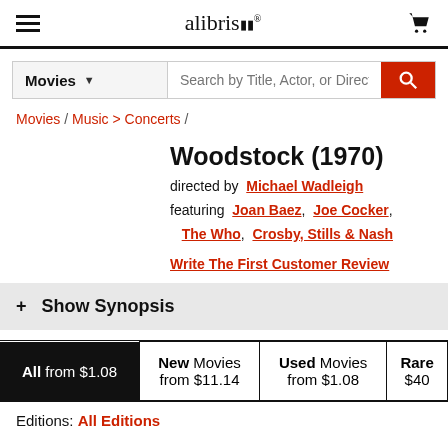alibris
Movies | Search by Title, Actor, or Director
Movies / Music > Concerts /
Woodstock (1970)
directed by Michael Wadleigh
featuring Joan Baez, Joe Cocker, The Who, Crosby, Stills & Nash
Write The First Customer Review
+ Show Synopsis
| All from $1.08 | New Movies from $11.14 | Used Movies from $1.08 | Rare $40 |
| --- | --- | --- | --- |
Editions: All Editions